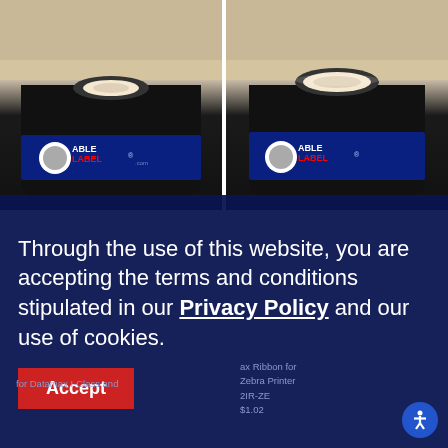[Figure (photo): Two thermal transfer ribbon rolls with AbleLabel branding shown side by side. Left roll shows the ribbon spool from a slight angle; right roll shows a slightly different angle. Both have black ribbon wound around a white core with a blue AbleLabel label.]
Through the use of this website, you are accepting the terms and conditions stipulated in our Privacy Policy and our use of cookies.
Accept
for Datamax I-Class and
Zebra Printer
2IR-ZE
$1.02